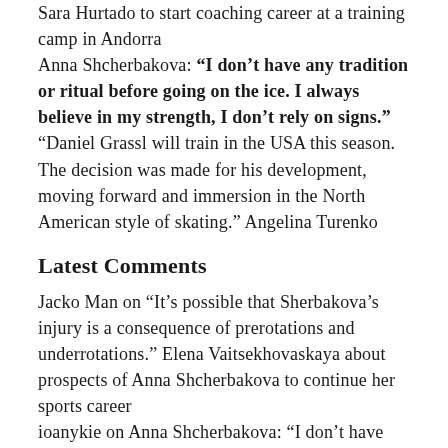Sara Hurtado to start coaching career at a training camp in Andorra Anna Shcherbakova: “I don’t have any tradition or ritual before going on the ice. I always believe in my strength, I don’t rely on signs.” “Daniel Grassl will train in the USA this season. The decision was made for his development, moving forward and immersion in the North American style of skating.” Angelina Turenko
Latest Comments
Jacko Man on “It’s possible that Sherbakova’s injury is a consequence of prerotations and underrotations.” Elena Vaitsekhovaskaya about prospects of Anna Shcherbakova to continue her sports career ioanykie on Anna Shcherbakova: “I don’t have any tradition or ritual